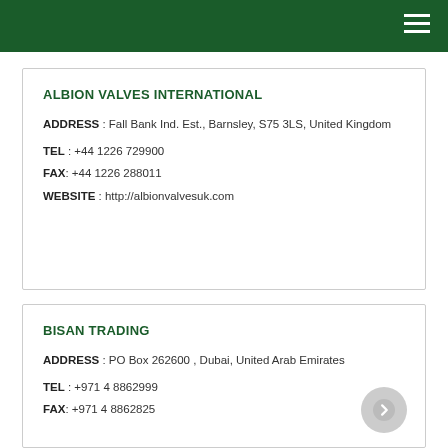ALBION VALVES INTERNATIONAL
ADDRESS : Fall Bank Ind. Est., Barnsley, S75 3LS, United Kingdom
TEL : +44 1226 729900
FAX: +44 1226 288011
WEBSITE : http://albionvalvesuk.com
BISAN TRADING
ADDRESS : PO Box 262600 , Dubai, United Arab Emirates
TEL : +971 4 8862999
FAX: +971 4 8862825